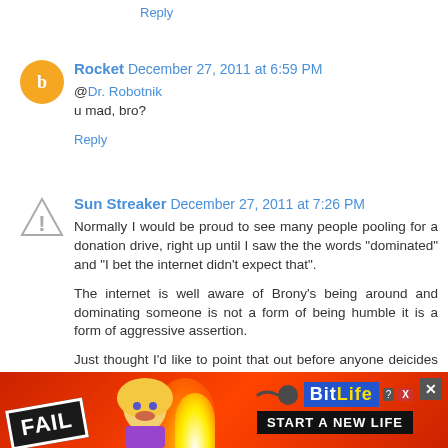Reply
Rocket  December 27, 2011 at 6:59 PM
@Dr. Robotnik
u mad, bro?
Reply
Sun Streaker  December 27, 2011 at 7:26 PM
Normally I would be proud to see many people pooling for a donation drive, right up until I saw the the words "dominated" and "I bet the internet didn't expect that".

The internet is well aware of Brony's being around and dominating someone is not a form of being humble it is a form of aggressive assertion.

Just thought I'd like to point that out before anyone deicides to shrug off a point I made.
Reply
[Figure (screenshot): Advertisement banner: FAIL BitLife - Start a New Life, with animated cartoon and fire imagery on red background]